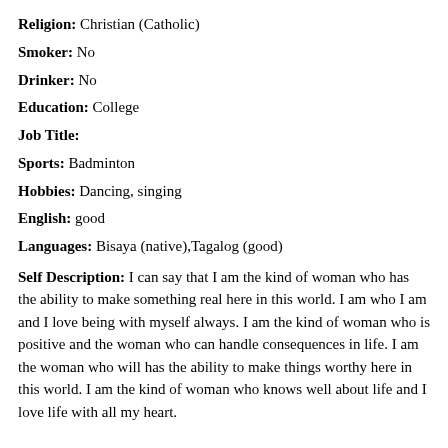Religion: Christian (Catholic)
Smoker: No
Drinker: No
Education: College
Job Title:
Sports: Badminton
Hobbies: Dancing, singing
English: good
Languages: Bisaya (native),Tagalog (good)
Self Description: I can say that I am the kind of woman who has the ability to make something real here in this world. I am who I am and I love being with myself always. I am the kind of woman who is positive and the woman who can handle consequences in life. I am the woman who will has the ability to make things worthy here in this world. I am the kind of woman who knows well about life and I love life with all my heart.